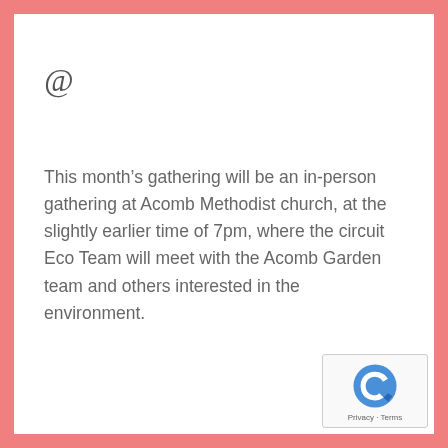@
This month’s gathering will be an in-person gathering at Acomb Methodist church, at the slightly earlier time of 7pm, where the circuit Eco Team will meet with the Acomb Garden team and others interested in the environment.
[Figure (logo): reCAPTCHA badge with Privacy and Terms links]